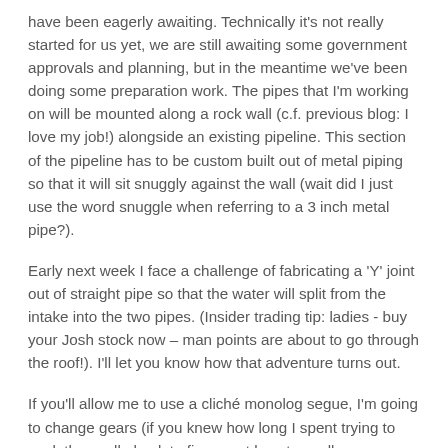have been eagerly awaiting. Technically it's not really started for us yet, we are still awaiting some government approvals and planning, but in the meantime we've been doing some preparation work. The pipes that I'm working on will be mounted along a rock wall (c.f. previous blog: I love my job!) alongside an existing pipeline. This section of the pipeline has to be custom built out of metal piping so that it will sit snuggly against the wall (wait did I just use the word snuggle when referring to a 3 inch metal pipe?).
Early next week I face a challenge of fabricating a 'Y' joint out of straight pipe so that the water will split from the intake into the two pipes. (Insider trading tip: ladies - buy your Josh stock now – man points are about to go through the roof!). I'll let you know how that adventure turns out.
If you'll allow me to use a cliché monolog segue, I'm going to change gears (if you knew how long I spent trying to work the spell-check to figure out how to spell segue you would laugh for a long, hard time – and I'm still not even sure I came up with the right word).